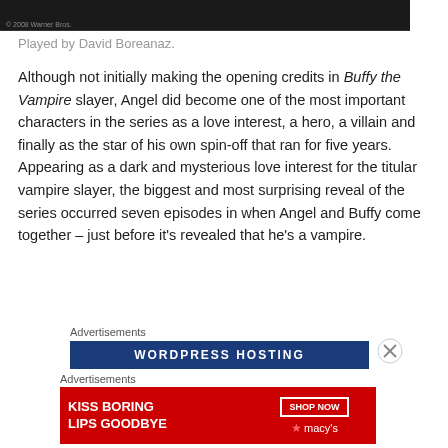[Figure (photo): Dark image banner at the top of the page, partially visible]
Played by David Boreanaz.
Although not initially making the opening credits in Buffy the Vampire slayer, Angel did become one of the most important characters in the series as a love interest, a hero, a villain and finally as the star of his own spin-off that ran for five years. Appearing as a dark and mysterious love interest for the titular vampire slayer, the biggest and most surprising reveal of the series occurred seven episodes in when Angel and Buffy come together – just before it's revealed that he's a vampire.
Advertisements
[Figure (screenshot): WordPress Hosting advertisement banner, dark blue background with white text]
Advertisements
[Figure (photo): Macy's advertisement: KISS BORING LIPS GOODBYE with SHOP NOW button, red background with woman's face]